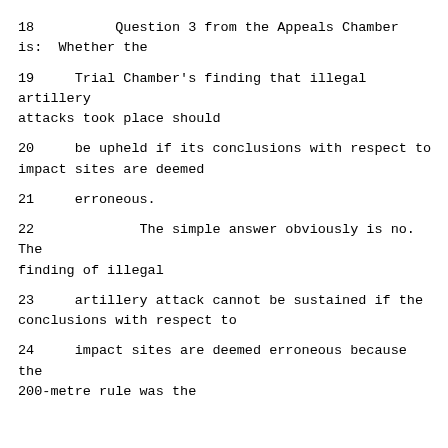18          Question 3 from the Appeals Chamber is:  Whether the
19     Trial Chamber's finding that illegal artillery attacks took place should
20     be upheld if its conclusions with respect to impact sites are deemed
21     erroneous.
22             The simple answer obviously is no.  The finding of illegal
23     artillery attack cannot be sustained if the conclusions with respect to
24     impact sites are deemed erroneous because the 200-metre rule was the